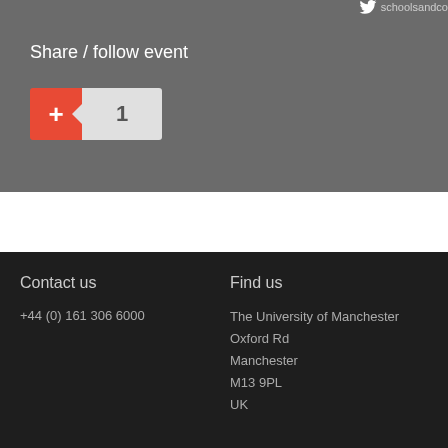schoolsandco...
Share / follow event
[Figure (other): Google +1 social sharing button with red plus icon and count badge showing 1]
Contact us
Find us
+44 (0) 161 306 6000
The University of Manchester
Oxford Rd
Manchester
M13 9PL
UK